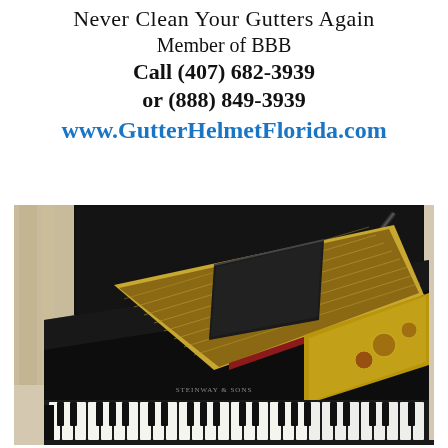Never Clean Your Gutters Again
Member of BBB
Call (407) 682-3939
or (888) 849-3939
www.GutterHelmetFlorida.com
[Figure (photo): A Steinway & Sons grand piano photographed from above and to the side, showing the open lid, music stand, keys, and internal gold-colored mechanism against a light background.]